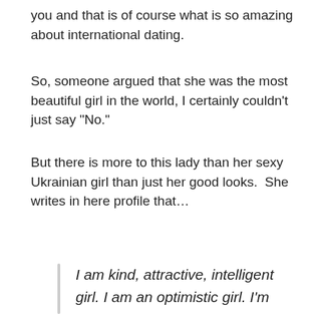you and that is of course what is so amazing about international dating.
So, someone argued that she was the most beautiful girl in the world, I certainly couldn’t just say “No.”
But there is more to this lady than her sexy Ukrainian girl than just her good looks.  She writes in here profile that…
I am kind, attractive, intelligent girl. I am an optimistic girl. I’m trying to find something good even in unpleasant situations. I always believe the best.